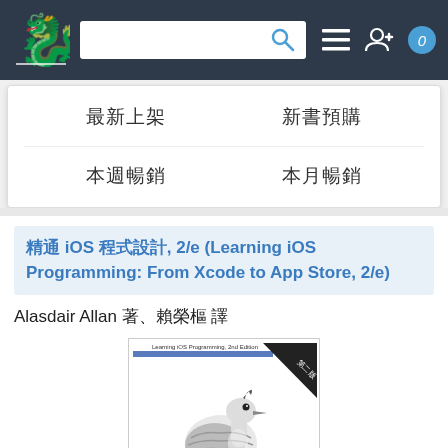[Figure (screenshot): Website navigation bar with dragon logo, search box with magnifying glass icon, hamburger menu icon, user-add icon, and blue badge with number 0]
最新上架
新書預購
本週暢銷
本月暢銷
精通 iOS 程式設計, 2/e (Learning iOS Programming: From Xcode to App Store, 2/e)
Alasdair Allan 著、賴榮樞 譯
[Figure (photo): Book cover of Learning iOS Programming 2nd Edition featuring a bird (lapwing/plover) illustration, with Chinese text 精通 at the bottom]